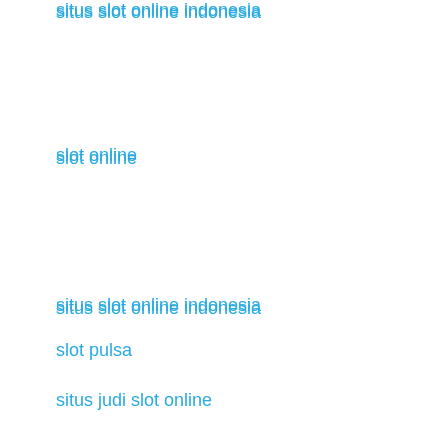situs slot online indonesia
slot online
situs slot online indonesia
slot pulsa
situs judi slot online
situs judi slot
situs judi slot online
situs slot online indonesia